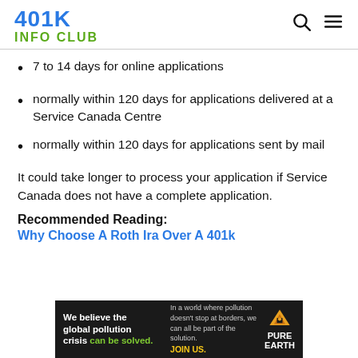401K INFO CLUB
7 to 14 days for online applications
normally within 120 days for applications delivered at a Service Canada Centre
normally within 120 days for applications sent by mail
It could take longer to process your application if Service Canada does not have a complete application.
Recommended Reading:
Why Choose A Roth Ira Over A 401k
[Figure (infographic): Pure Earth advertisement banner: 'We believe the global pollution crisis can be solved.' with Pure Earth logo on dark background]